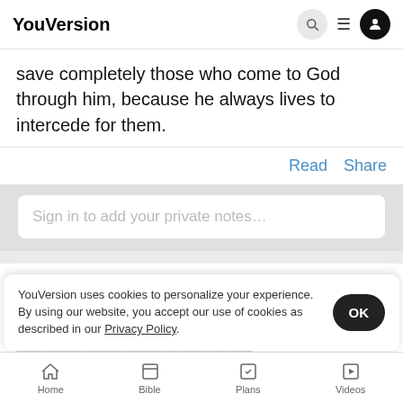YouVersion
save completely those who come to God through him, because he always lives to intercede for them.
Read  Share
Sign in to add your private notes…
Being a part of the family of God is the greatest blessing … should … We ca … gift of love, mercy, and grace to us; yet, we are
YouVersion uses cookies to personalize your experience. By using our website, you accept our use of cookies as described in our Privacy Policy.
Home  Bible  Plans  Videos